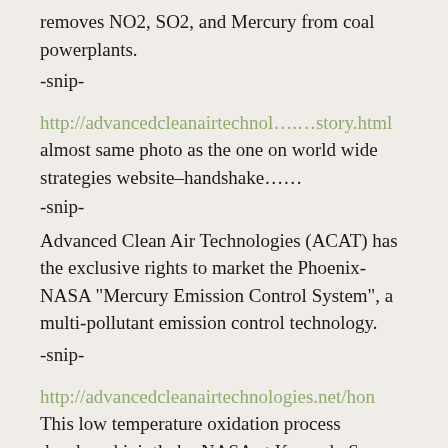removes NO2, SO2, and Mercury from coal powerplants.
-snip-
http://advancedcleanairtechnol….…story.html almost same photo as the one on world wide strategies website–handshake…….
-snip-
Advanced Clean Air Technologies (ACAT) has the exclusive rights to market the Phoenix-NASA “Mercury Emission Control System”, a multi-pollutant emission control technology.
-snip-
http://advancedcleanairtechnologies.net/hon
This low temperature oxidation process developed jointly by NASA at Kennedy Space